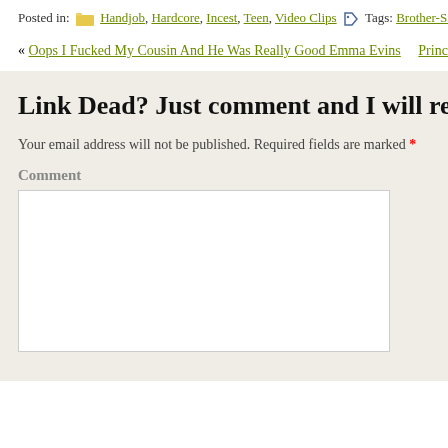Posted in: Handjob, Hardcore, Incest, Teen, Video Clips  Tags: Brother-Sister, C…
« Oops I Fucked My Cousin And He Was Really Good Emma Evins   Princess B…
Link Dead? Just comment and I will re-uplo…
Your email address will not be published. Required fields are marked *
Comment